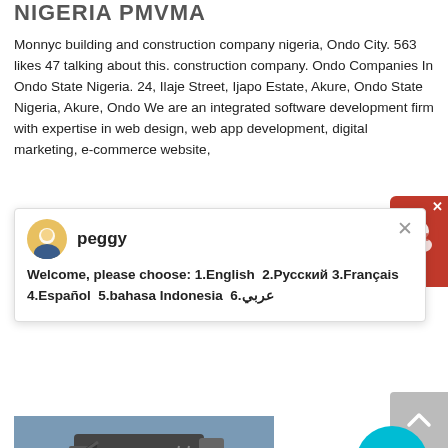NIGERIA PMVMA
Monnyc building and construction company nigeria, Ondo City. 563 likes 47 talking about this. construction company. Ondo Companies In Ondo State Nigeria. 24, Ilaje Street, Ijapo Estate, Akure, Ondo State Nigeria, Akure, Ondo We are an integrated software development firm with expertise in web design, web app development, digital marketing, e-commerce website,
[Figure (screenshot): Chat widget popup with agent 'peggy' showing language selection options]
[Figure (photo): Industrial construction/crushing machinery on a dirt site]
10 BEST CONSTRUCTION COMPANIES IN NIGERIA (LAGOS & ABUJA